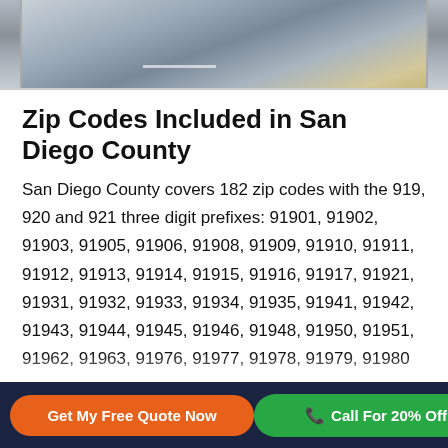[Figure (photo): Partial view of a tow truck or flatbed vehicle on a road, cropped at the top of the page]
Zip Codes Included in San Diego County
San Diego County covers 182 zip codes with the 919, 920 and 921 three digit prefixes: 91901, 91902, 91903, 91905, 91906, 91908, 91909, 91910, 91911, 91912, 91913, 91914, 91915, 91916, 91917, 91921, 91931, 91932, 91933, 91934, 91935, 91941, 91942, 91943, 91944, 91945, 91946, 91948, 91950, 91951, 91962, 91963, 91976, 91977, 91978, 91979, 91980...